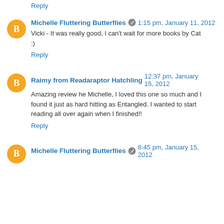Reply
Michelle Fluttering Butterflies  1:15 pm, January 11, 2012
Vicki - It was really good, I can't wait for more books by Cat :)
Reply
Raimy from Readaraptor Hatchling  12:37 pm, January 15, 2012
Amazing review he Michelle, I loved this one so much and I found it just as hard hitting as Entangled. I wanted to start reading all over again when I finished!!
Reply
Michelle Fluttering Butterflies  8:45 pm, January 15, 2012